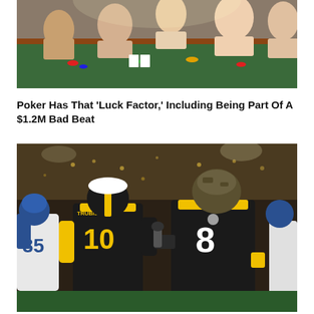[Figure (photo): People sitting around a poker/casino table with green felt, playing cards and chips visible]
Poker Has That ‘Luck Factor,’ Including Being Part Of A $1.2M Bad Beat
[Figure (photo): Two Pittsburgh Steelers football players in black jerseys (numbers 10 and 8) talking on the field after a game, with a Seattle Seahawks player visible in background]
Final Preseason Games Feature Underdog Eagles, Favored Steelers